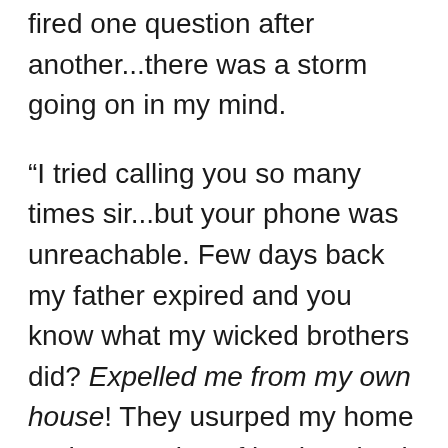fired one question after another...there was a storm going on in my mind.
“I tried calling you so many times sir...but your phone was unreachable. Few days back my father expired and you know what my wicked brothers did? Expelled me from my own house! They usurped my home and my portion of land saying it was their due as they had lent me money over past one year and half, and now it all belonged to them as I had become an